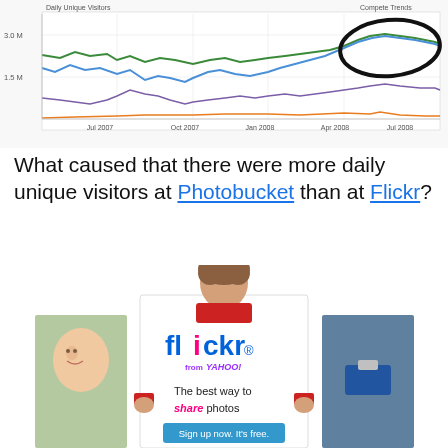[Figure (line-chart): Line chart from Compete Trends showing daily unique visitors for multiple sites (green, blue, purple, orange lines) from Jul 2007 to late 2008. A hand-drawn black ellipse highlights the convergence/crossover point around Jul 2008 where green and blue lines meet near 3.0M. Y-axis labels: 3.0 M, 1.5 M. X-axis labels: Jul 2007, Oct 2007, Jan 2008, Apr 2008, Jul 2008.]
What caused that there were more daily unique visitors at Photobucket than at Flickr?
[Figure (photo): Flickr advertisement image showing a young man holding a white sign displaying the Flickr logo (from Yahoo), text 'The best way to share photos' and 'Sign up now. It's free.' with photo thumbnails on sides.]